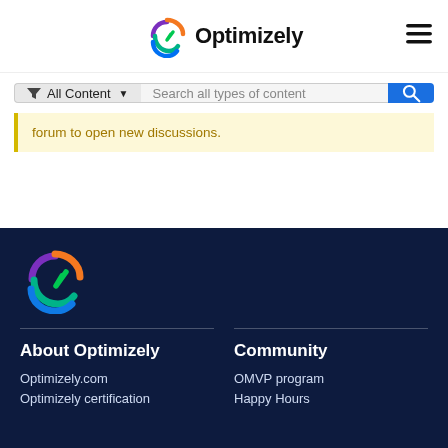[Figure (logo): Optimizely logo with colorful swirl icon and word mark, hamburger menu icon on right]
[Figure (screenshot): Search bar with 'All Content' filter dropdown and 'Search all types of content' input field and blue search button]
forum to open new discussions.
[Figure (logo): Optimizely icon logo (colorful swirl) in footer dark section]
About Optimizely
Community
Optimizely.com
OMVP program
Optimizely certification
Happy Hours